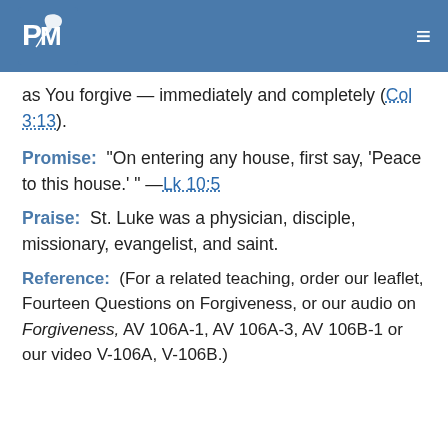[Figure (logo): PM logo with dove/leaf icon in white on blue background, top left]
as You forgive — immediately and completely (Col 3:13).
Promise:  "On entering any house, first say, 'Peace to this house.' " —Lk 10:5
Praise:  St. Luke was a physician, disciple, missionary, evangelist, and saint.
Reference:  (For a related teaching, order our leaflet, Fourteen Questions on Forgiveness, or our audio on Forgiveness, AV 106A-1, AV 106A-3, AV 106B-1 or our video V-106A, V-106B.)